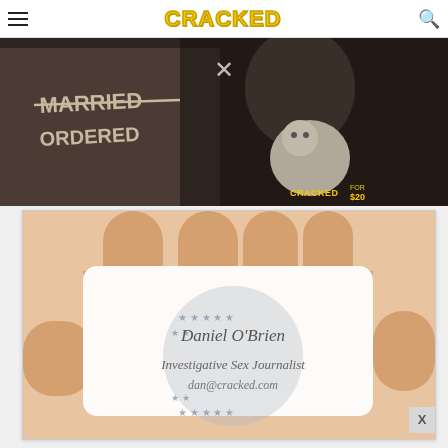CRACKED
[Figure (photo): Dark moody photo showing a person in a jacket holding a stuffed animal/plush toy. In the background, text on a wall reads 'MARRIED' and 'ORDERED'. The image has a sepia/dark tone. CRACKED FOR $20 watermark in bottom right.]
[Figure (photo): Close-up photo of a hand holding a white business card. The card reads: 'Daniel O'Brien, Investigative Sex Journalist, dan@cracked.com'. A faint circular logo/seal is visible on the card. An X close button appears at bottom right.]